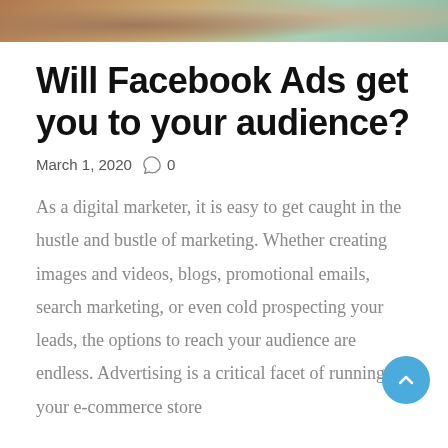[Figure (photo): Partial photo strip at top of page showing a person on a couch, cropped at the bottom edge]
Will Facebook Ads get you to your audience?
March 1, 2020   0
As a digital marketer, it is easy to get caught in the hustle and bustle of marketing. Whether creating images and videos, blogs, promotional emails, search marketing, or even cold prospecting your leads, the options to reach your audience are endless. Advertising is a critical facet of running your e-commerce store